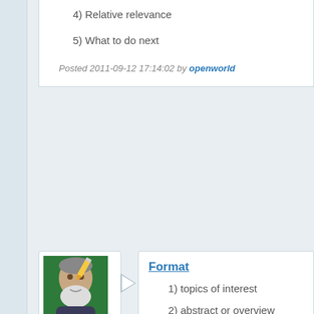4) Relative relevance
5) What to do next
Posted 2011-09-12 17:14:02 by openworld
[Figure (photo): Profile photo of an elderly man with white beard on green background, with pencil icon overlay]
Format
1) topics of interest
2) abstract or overview
3) values and vision
4) relative relevance
5) what to do next
Creator's comments